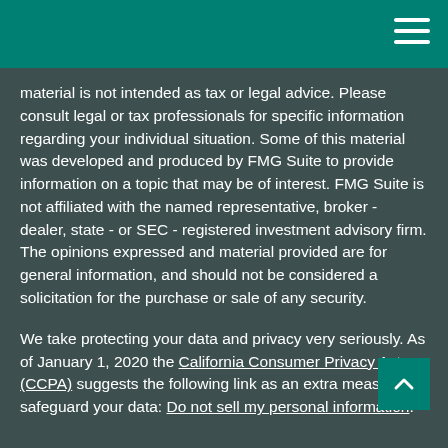[navigation bar with hamburger menu]
material is not intended as tax or legal advice. Please consult legal or tax professionals for specific information regarding your individual situation. Some of this material was developed and produced by FMG Suite to provide information on a topic that may be of interest. FMG Suite is not affiliated with the named representative, broker - dealer, state - or SEC - registered investment advisory firm. The opinions expressed and material provided are for general information, and should not be considered a solicitation for the purchase or sale of any security.
We take protecting your data and privacy very seriously. As of January 1, 2020 the California Consumer Privacy Act (CCPA) suggests the following link as an extra measure to safeguard your data: Do not sell my personal information.